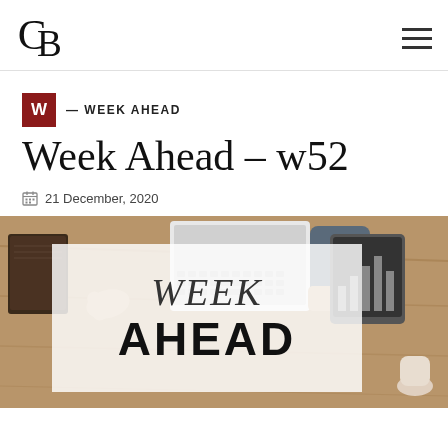CB logo and hamburger menu
W — WEEK AHEAD
Week Ahead – w52
21 December, 2020
[Figure (photo): Overhead view of a business desk with laptop, tablet, notebook, and hands. Overlaid white semi-transparent box with italic 'WEEK' and bold 'AHEAD' text.]